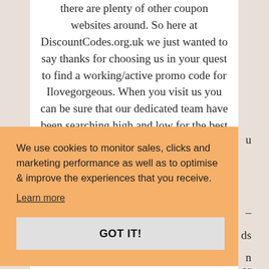there are plenty of other coupon websites around. So here at DiscountCodes.org.uk we just wanted to say thanks for choosing us in your quest to find a working/active promo code for Ilovegorgeous. When you visit us you can be sure that our dedicated team have been searching high and low for the best offers to bring to you. There's very little more satisfying when buying online
We use cookies to monitor sales, clicks and marketing performance as well as to optimise & improve the experiences that you receive.
Learn more
GOT IT!